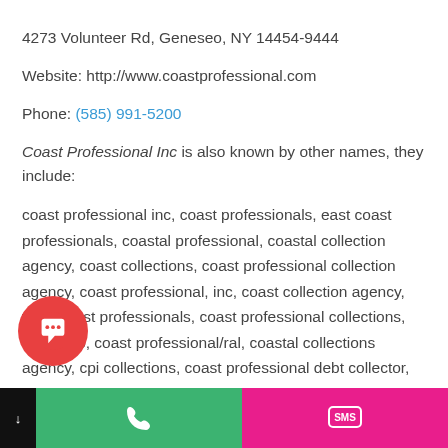4273 Volunteer Rd, Geneseo, NY 14454-9444
Website: http://www.coastprofessional.com
Phone: (585) 991-5200
Coast Professional Inc is also known by other names, they include:
coast professional inc, coast professionals, east coast professionals, coastal professional, coastal collection agency, coast collections, coast professional collection agency, coast professional, inc, coast collection agency, west coast professionals, coast professional collections, coast pro, coast professional/ral, coastal collections agency, cpi collections, coast professional debt collector, coast professional inc department of education, edpca coast professional, coast professional inc student